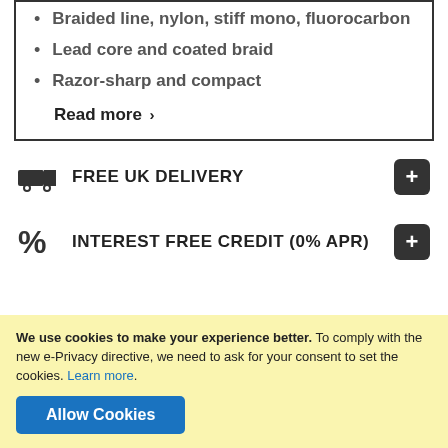Braided line, nylon, stiff mono, fluorocarbon
Lead core and coated braid
Razor-sharp and compact
Read more ›
FREE UK DELIVERY
INTEREST FREE CREDIT (0% APR)
We use cookies to make your experience better. To comply with the new e-Privacy directive, we need to ask for your consent to set the cookies. Learn more. Allow Cookies